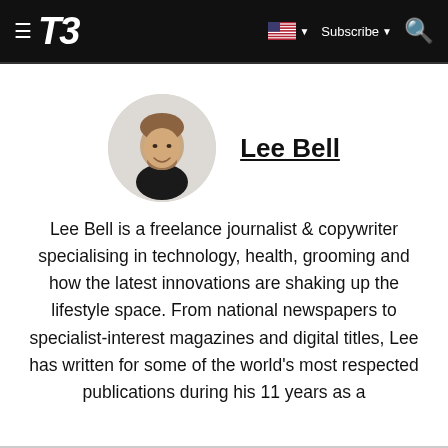T3 — Subscribe
[Figure (photo): Circular headshot of Lee Bell, a young man with brown hair and beard wearing a black shirt, smiling]
Lee Bell
Lee Bell is a freelance journalist & copywriter specialising in technology, health, grooming and how the latest innovations are shaking up the lifestyle space. From national newspapers to specialist-interest magazines and digital titles, Lee has written for some of the world's most respected publications during his 11 years as a